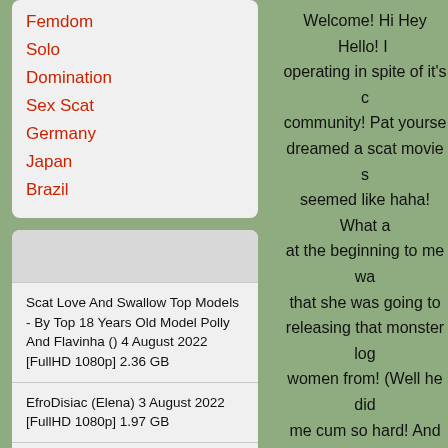Femdom
Solo
Domination
Sex Scat
Germany
Japan
Brazil
Scat Love And Swallow Top Models - By Top 18 Years Old Model Polly And Flavinha () 4 August 2022 [FullHD 1080p] 2.36 GB
EfroDisiac (Elena) 3 August 2022 [FullHD 1080p] 1.97 GB
PVC and Scat Couple - Filled with Scat and Cock (Jessica) 4 August 2022 [FullHD 1080p] 1.21 GB
Kaviar Amateur 92 (Amateur) 3 August 2022 [DVDRip] 1.66 GB
Welcome! Hi Hey Hello! I operating in spite of it's c community! Pat yourse dreamed a scat movie s seemed like haha! What a at the beginning to me wa that she was going to releasing that monster log women from! (Well he did me cum so hard! And the consumed. Then Imani ho just keep getting better a way that Imani was swallo